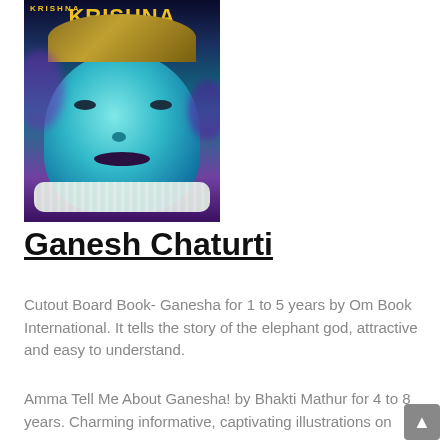[Figure (illustration): Book cover of 'KRISHNA The Defender of Dharma' showing a stylized illustration of Krishna with teal/cyan skin, ornate golden headdress, white flower garlands, against a purple and blue swirling background.]
Ganesh Chaturti
Cutout Board Book- Ganesha for 1 to 5 years by Om Book International.  It tells the story of the elephant god, attractive and easy to understand.
Amma Tell Me About Ganesha! by Bhakti Mathur for 4 to 8 years. Charming informative, captivating illustrations on